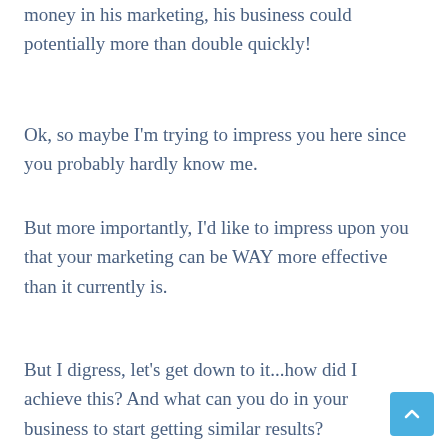money in his marketing, his business could potentially more than double quickly!
Ok, so maybe I'm trying to impress you here since you probably hardly know me.
But more importantly, I'd like to impress upon you that your marketing can be WAY more effective than it currently is.
But I digress, let's get down to it...how did I achieve this? And what can you do in your business to start getting similar results?